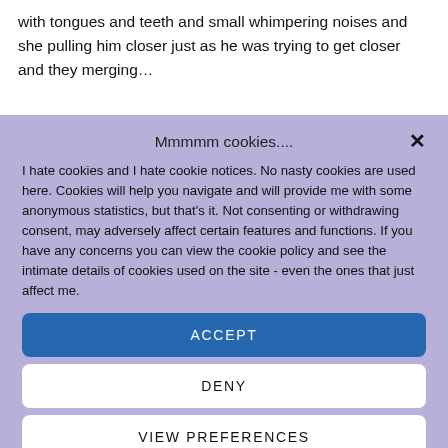with tongues and teeth and small whimpering noises and she pulling him closer just as he was trying to get closer and they merging…
Mmmmm cookies....
I hate cookies and I hate cookie notices. No nasty cookies are used here. Cookies will help you navigate and will provide me with some anonymous statistics, but that's it. Not consenting or withdrawing consent, may adversely affect certain features and functions. If you have any concerns you can view the cookie policy and see the intimate details of cookies used on the site - even the ones that just affect me.
ACCEPT
DENY
VIEW PREFERENCES
Cookie Policy  Privacy Policy